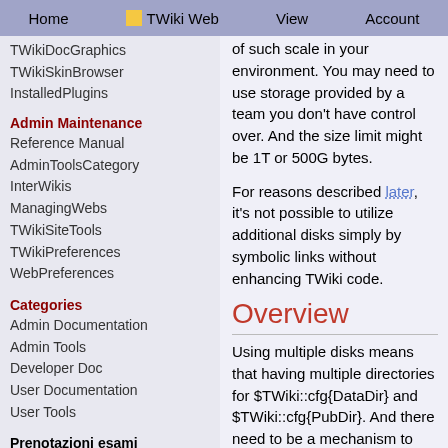Home  TWiki Web  View  Account
TWikiDocGraphics
TWikiSkinBrowser
InstalledPlugins
Admin Maintenance
Reference Manual
AdminToolsCategory
InterWikis
ManagingWebs
TWikiSiteTools
TWikiPreferences
WebPreferences
Categories
Admin Documentation
Admin Tools
Developer Doc
User Documentation
User Tools
Prenotazioni esami
of such scale in your environment. You may need to use storage provided by a team you don't have control over. And the size limit might be 1T or 500G bytes.
For reasons described later, it's not possible to utilize additional disks simply by symbolic links without enhancing TWiki code.
Overview
Using multiple disks means that having multiple directories for $TWiki::cfg{DataDir} and $TWiki::cfg{PubDir}. And there need to be a mechanism to specify each web is housed in which.
As you see below, utilizing multiple disks is not trivial. You need to cope